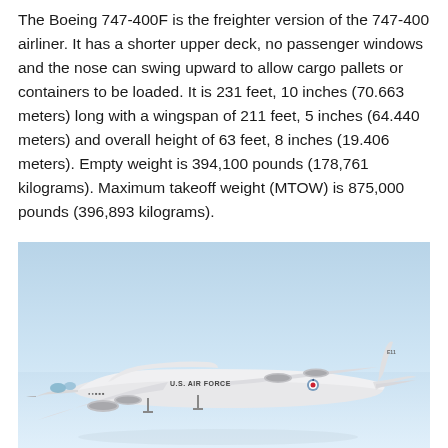The Boeing 747-400F is the freighter version of the 747-400 airliner. It has a shorter upper deck, no passenger windows and the nose can swing upward to allow cargo pallets or containers to be loaded. It is 231 feet, 10 inches (70.663 meters) long with a wingspan of 211 feet, 5 inches (64.440 meters) and overall height of 63 feet, 8 inches (19.406 meters). Empty weight is 394,100 pounds (178,761 kilograms). Maximum takeoff weight (MTOW) is 875,000 pounds (396,893 kilograms).
[Figure (photo): A white U.S. Air Force Boeing 747-400 freighter aircraft in flight against a light blue sky and horizon. The aircraft is shown in profile from the left side, with 'U.S. AIR FORCE' text visible on the fuselage.]